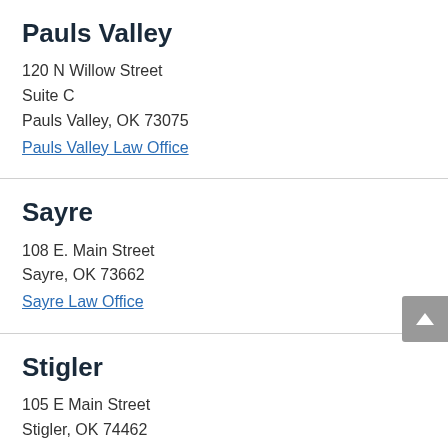Pauls Valley
120 N Willow Street
Suite C
Pauls Valley, OK 73075
Pauls Valley Law Office
Sayre
108 E. Main Street
Sayre, OK 73662
Sayre Law Office
Stigler
105 E Main Street
Stigler, OK 74462